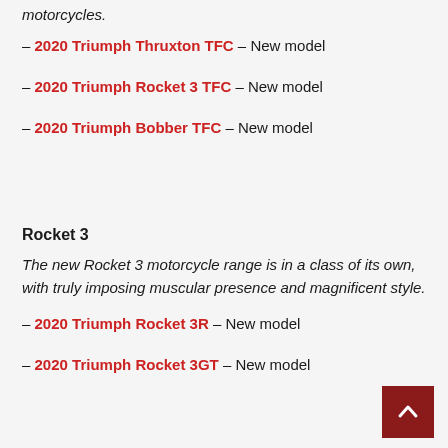motorcycles.
– 2020 Triumph Thruxton TFC – New model
– 2020 Triumph Rocket 3 TFC – New model
– 2020 Triumph Bobber TFC – New model
Rocket 3
The new Rocket 3 motorcycle range is in a class of its own, with truly imposing muscular presence and magnificent style.
– 2020 Triumph Rocket 3R – New model
– 2020 Triumph Rocket 3GT – New model